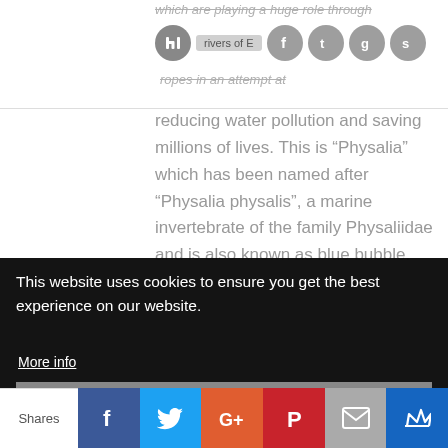which are playing a huge role through rivers of Europe in an attempt at reducing water pollution and saving millions of lives.
reducing water pollution and saving millions of lives. This is “Physalia” which has been named after “Physalia physalis”, a marine invertebrate of the family Physaliidae and is also known as blue bubble.
[Figure (screenshot): Cookie consent overlay with dark background. Text reads: 'This website uses cookies to ensure you get the best experience on our website.' with 'More info' link and 'Got it!' button.]
Shares | Facebook | Twitter | Google+ | Pinterest | Email | Crown